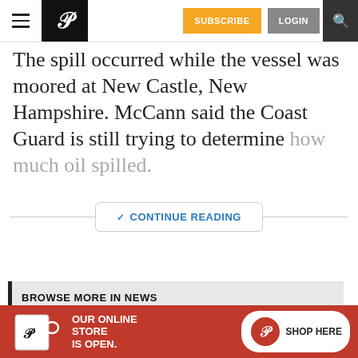P [logo] | SUBSCRIBE | LOGIN | [search]
The spill occurred while the vessel was moored at New Castle, New Hampshire. McCann said the Coast Guard is still trying to determine how much oil spilled.
✓ CONTINUE READING
BROWSE MORE IN NEWS
LOCAL & STATE    COPS & COURTS
[Figure (other): Advertisement banner: white mug with P logo, text OUR ONLINE STORE IS OPEN. and SHOP HERE button]